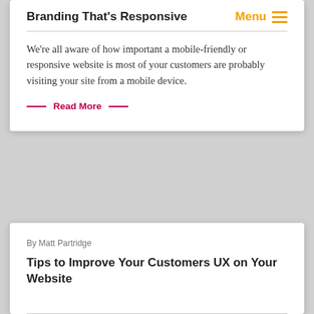Branding That's Responsive
We're all aware of how important a mobile-friendly or responsive website is most of your customers are probably visiting your site from a mobile device.
— Read More —
By Matt Partridge
Tips to Improve Your Customers UX on Your Website